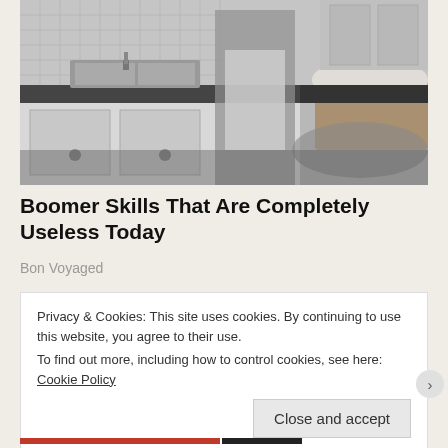[Figure (photo): Vintage black and white photo of a woman in a floral apron standing in a 1950s-style kitchen with a sink, cabinets, and a laundry basket]
Boomer Skills That Are Completely Useless Today
Bon Voyaged
Privacy & Cookies: This site uses cookies. By continuing to use this website, you agree to their use.
To find out more, including how to control cookies, see here: Cookie Policy
Close and accept